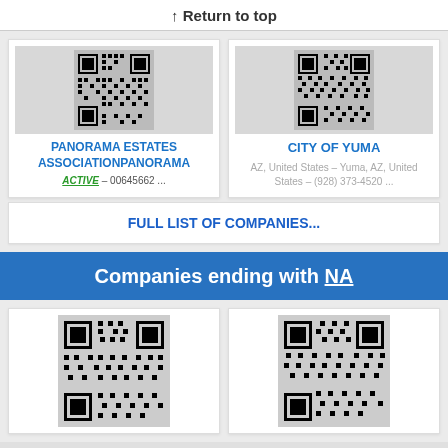↑ Return to top
[Figure (other): QR code for Panorama Estates Association]
PANORAMA ESTATES ASSOCIATIONPANORAMA
ACTIVE – 00645662 ...
[Figure (other): QR code for City of Yuma]
CITY OF YUMA
AZ, United States – Yuma, AZ, United States – (928) 373-4520 ...
FULL LIST OF COMPANIES...
Companies ending with NA
[Figure (other): QR code for a company ending with NA (left)]
[Figure (other): QR code for a company ending with NA (right)]